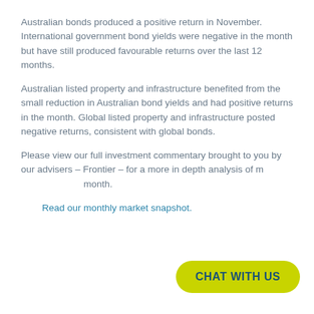Australian bonds produced a positive return in November. International government bond yields were negative in the month but have still produced favourable returns over the last 12 months.
Australian listed property and infrastructure benefited from the small reduction in Australian bond yields and had positive returns in the month. Global listed property and infrastructure posted negative returns, consistent with global bonds.
Please view our full investment commentary brought to you by our advisers – Frontier – for a more in depth analysis of market conditions this month.
Read our monthly market snapshot.